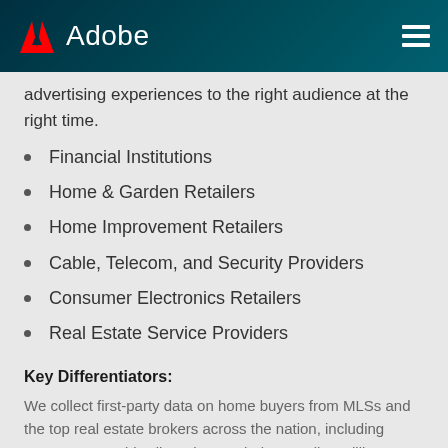Adobe
advertising experiences to the right audience at the right time.
Financial Institutions
Home & Garden Retailers
Home Improvement Retailers
Cable, Telecom, and Security Providers
Consumer Electronics Retailers
Real Estate Service Providers
Key Differentiators:
We collect first-party data on home buyers from MLSs and the top real estate brokers across the nation, including Century 21, Coldwell Banker, Sotheby's, Keller Williams, RE/MAX, Berkshire Hathaway and more. These first-party homebuyers provide the best early indications of a move